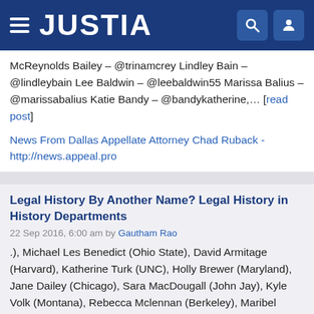JUSTIA
McReynolds Bailey – @trinamcrey Lindley Bain – @lindleybain Lee Baldwin – @leebaldwin55 Marissa Balius – @marissabalius Katie Bandy – @bandykatherine,… [read post]
News From Dallas Appellate Attorney Chad Ruback - http://news.appeal.pro
Legal History By Another Name? Legal History in History Departments
22 Sep 2016, 6:00 am by Gautham Rao
.), Michael Les Benedict (Ohio State), David Armitage (Harvard), Katherine Turk (UNC), Holly Brewer (Maryland), Jane Dailey (Chicago), Sara MacDougall (John Jay), Kyle Volk (Montana), Rebecca Mclennan (Berkeley), Maribel Morey (Clemson), Malick Ghachem (MIT), Yvonne